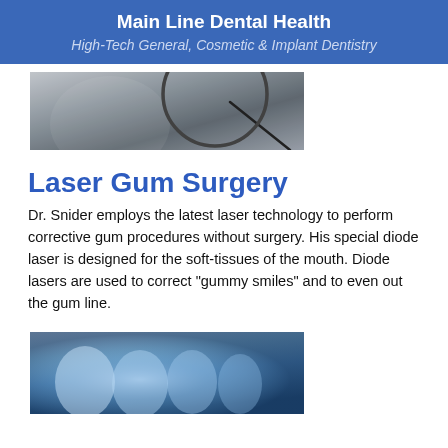Main Line Dental Health
High-Tech General, Cosmetic & Implant Dentistry
[Figure (photo): Partial view of dental equipment or laser device, grayscale/silver tones]
Laser Gum Surgery
Dr. Snider employs the latest laser technology to perform corrective gum procedures without surgery. His special diode laser is designed for the soft-tissues of the mouth. Diode lasers are used to correct "gummy smiles" and to even out the gum line.
[Figure (photo): Close-up dental X-ray or blurred tooth/teeth image in blue tones]